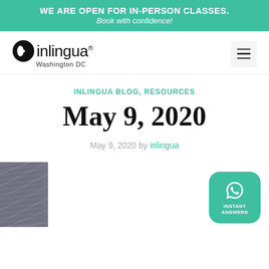WE ARE OPEN FOR IN-PERSON CLASSES. Book with confidence!
[Figure (logo): inlingua Washington DC logo with circular icon]
INLINGUA BLOG, RESOURCES
May 9, 2020
May 9, 2020 by inlingua
[Figure (photo): Partial image of book pages at bottom left]
[Figure (infographic): WhatsApp instant answers button, teal rounded square with WhatsApp icon and text INSTANT ANSWERS]